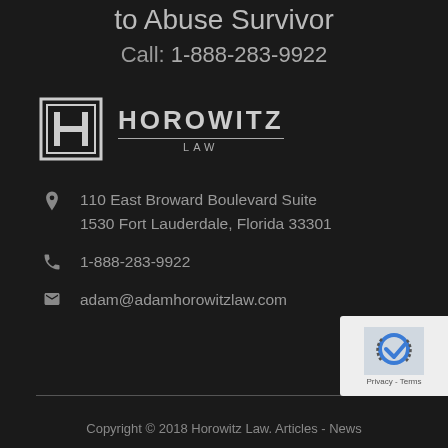to Abuse Survivor
Call: 1-888-283-9922
[Figure (logo): Horowitz Law logo with stylized H icon and firm name]
110 East Broward Boulevard Suite 1530 Fort Lauderdale, Florida 33301
1-888-283-9922
adam@adamhorowitzlaw.com
Copyright © 2018 Horowitz Law. Articles - News